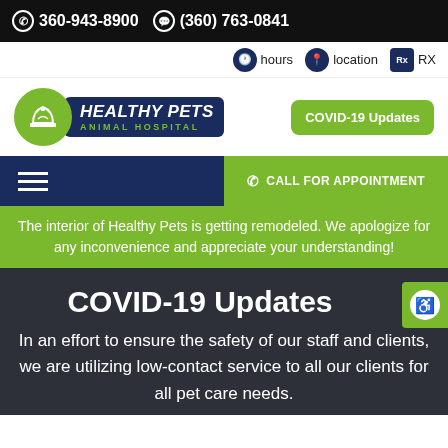360-943-8900  (360) 763-0841
hours  location  RX
[Figure (logo): Healthy Pets Animal Hospital logo — green circle with animal silhouette, dark navy text block]
COVID-19 Updates (button)
CALL FOR APPOINTMENT
The interior of Healthy Pets is getting remodeled. We apologize for any inconvenience and appreciate your understanding!
COVID-19 Updates
In an effort to ensure the safety of our staff and clients, we are utilizing low-contact service to all our clients for all pet care needs.